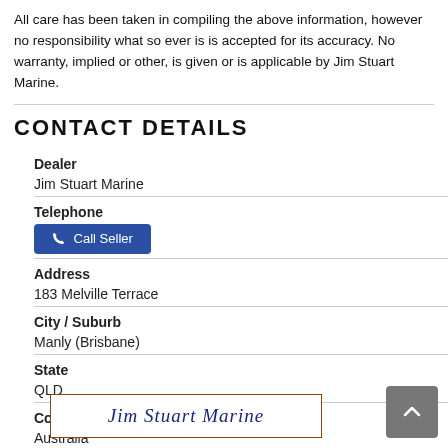All care has been taken in compiling the above information, however no responsibility what so ever is is accepted for its accuracy. No warranty, implied or other, is given or is applicable by Jim Stuart Marine.
CONTACT DETAILS
| Dealer |  |
| Jim Stuart Marine |  |
| Telephone |  |
| Call Seller |  |
| Address |  |
| 183 Melville Terrace |  |
| City / Suburb |  |
| Manly (Brisbane) |  |
| State |  |
| QLD |  |
| Country |  |
| Australia |  |
[Figure (logo): Jim Stuart Marine logo with serif italic text in dark blue inside a brown-bordered rectangle]